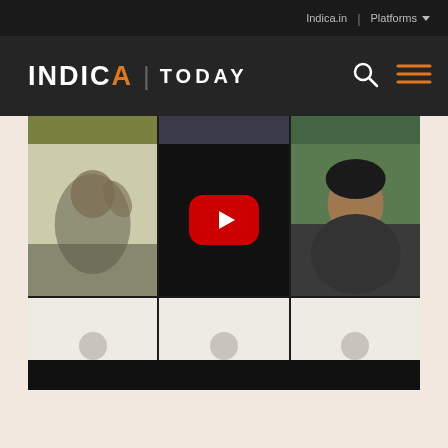Indica.in | Platforms
[Figure (screenshot): Indica Today website header with logo showing INDICA in white with orange A, followed by TODAY, search icon and hamburger menu on dark background]
[Figure (screenshot): Video conference screenshot showing a YouTube video player in the center column with red play button, a person on the left, and a woman on the right in the top row, with six placeholder profile silhouettes in the two rows below, all arranged in a 3-column grid on dark background]